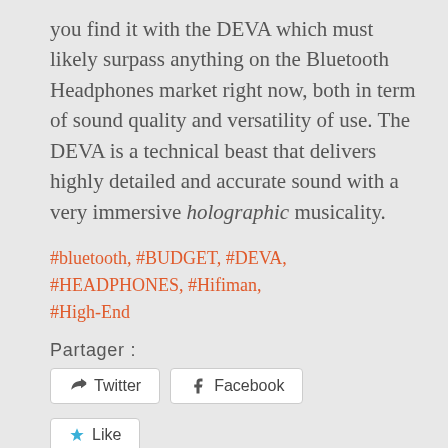you find it with the DEVA which must likely surpass anything on the Bluetooth Headphones market right now, both in term of sound quality and versatility of use. The DEVA is a technical beast that delivers highly detailed and accurate sound with a very immersive holographic musicality.
#bluetooth, #BUDGET, #DEVA, #HEADPHONES, #Hifiman, #High-End
Partager :
Twitter
Facebook
Like
Be the first to like this.